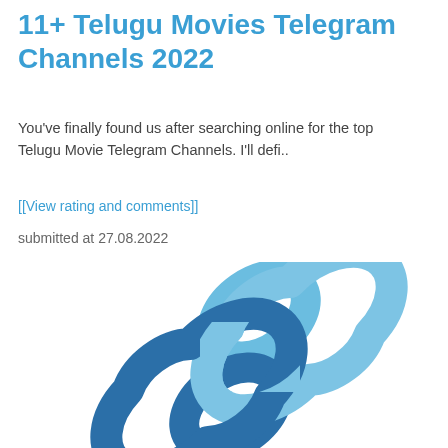11+ Telugu Movies Telegram Channels 2022
You've finally found us after searching online for the top Telugu Movie Telegram Channels. I'll defi..
[[View rating and comments]]
submitted at 27.08.2022
[Figure (illustration): A chain link icon in blue tones, consisting of two interlocked oval/chain links rendered at a diagonal angle. The upper link is in light blue and the lower link is in darker blue, overlapping in the center.]